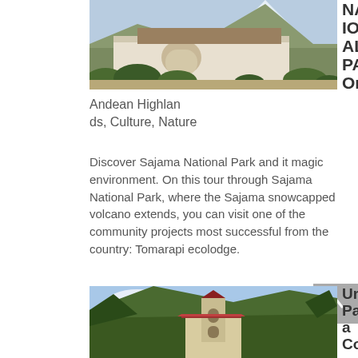[Figure (photo): Photograph of Sajama National Park showing a white colonial building with stone archway, snow-capped volcano in background, shrubs in foreground]
NATIONAL PARK / Oruro
Andean Highlands, Culture, Nature
Discover Sajama National Park and it magic environment. On this tour through Sajama National Park, where the Sajama snowcapped volcano extends, you can visit one of the community projects most successful from the country: Tomarapi ecolodge.
[Figure (photo): Photograph of Uma Palca Community showing a small stone church/chapel with red roof and arched windows, green mountains in background]
Uma Palca Community /